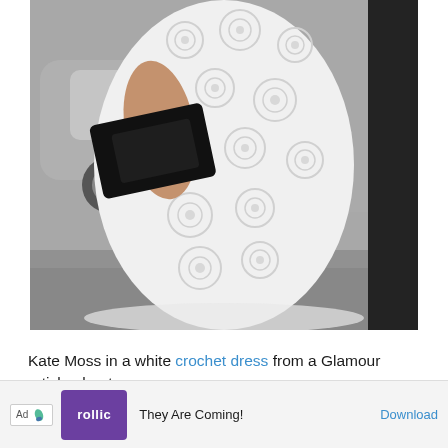[Figure (photo): Photo of Kate Moss from the torso down, wearing a white crochet dress with circular patterns. She is holding a black leather clutch purse. A silver car is visible in the background on the left, a dark figure on the right, and a sidewalk below.]
Kate Moss in a white crochet dress from a Glamour article about
Ad  rollic  They Are Coming!  Download